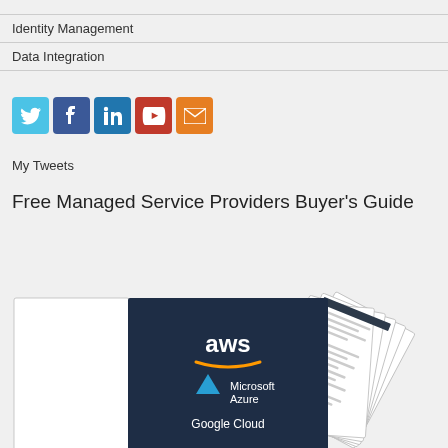Identity Management
Data Integration
[Figure (infographic): Social media icons: Twitter (blue bird), Facebook (blue f), LinkedIn (blue in), YouTube (red play), Email (orange envelope)]
My Tweets
Free Managed Service Providers Buyer's Guide
[Figure (photo): Stack of documents/guides fanned out, with a front cover showing AWS, Microsoft Azure, and Google Cloud logos on a dark navy background]